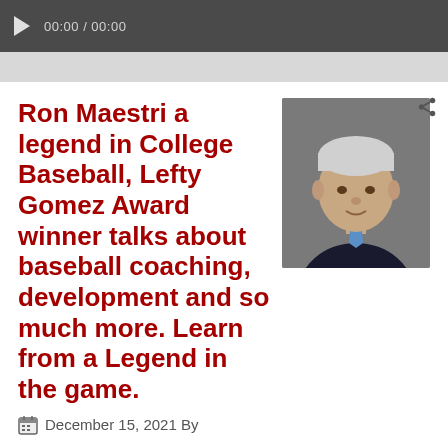[Figure (screenshot): Video player bar showing play button and time 00:00 / 00:00]
Ron Maestri a legend in College Baseball, Lefty Gomez Award winner talks about baseball coaching, development and so much more. Learn from a Legend in the game.
[Figure (photo): Headshot of Ron Maestri, elderly man in dark suit and blue tie with white hair]
December 15, 2021 By
Ron Maestri: A board member of JSC Baseball